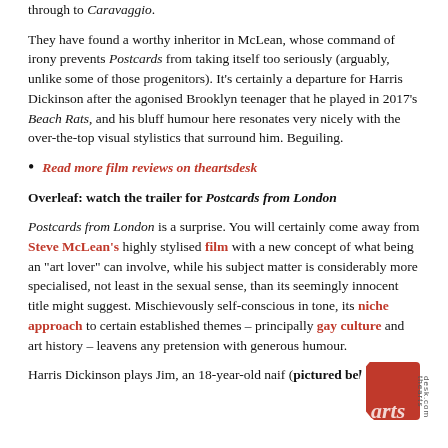through to Caravaggio.
They have found a worthy inheritor in McLean, whose command of irony prevents Postcards from taking itself too seriously (arguably, unlike some of those progenitors). It's certainly a departure for Harris Dickinson after the agonised Brooklyn teenager that he played in 2017's Beach Rats, and his bluff humour here resonates very nicely with the over-the-top visual stylistics that surround him. Beguiling.
Read more film reviews on theartsdesk
Overleaf: watch the trailer for Postcards from London
Postcards from London is a surprise. You will certainly come away from Steve McLean's highly stylised film with a new concept of what being an “art lover” can involve, while his subject matter is considerably more specialised, not least in the sexual sense, than its seemingly innocent title might suggest. Mischievously self-conscious in tone, its niche approach to certain established themes – principally gay culture and art history – leavens any pretension with generous humour.
Harris Dickinson plays Jim, an 18-year-old naif (pictured below) who